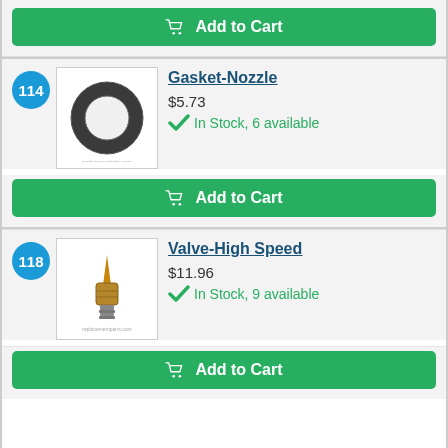[Figure (other): Green Add to Cart button at top of page]
114
[Figure (photo): Photo of a black rubber ring gasket (Gasket-Nozzle)]
Gasket-Nozzle
$5.73
In Stock, 6 available
[Figure (other): Green Add to Cart button below Gasket-Nozzle product]
118
[Figure (photo): Photo of a brass/copper threaded valve needle (Valve-High Speed)]
Valve-High Speed
$11.96
In Stock, 9 available
[Figure (other): Green Add to Cart button below Valve-High Speed product]